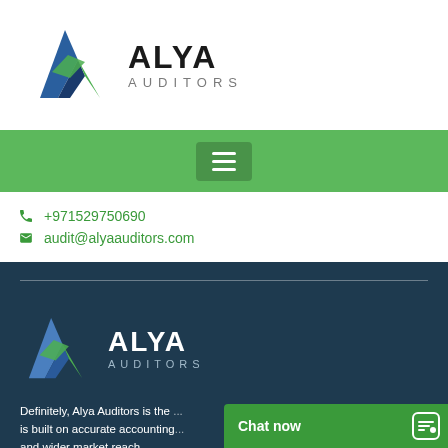[Figure (logo): Alya Auditors logo with blue and green A icon and text ALYA AUDITORS in black and gray]
[Figure (other): Green navigation bar with hamburger menu icon]
+971529750690
audit@alyaauditors.com
[Figure (logo): Alya Auditors logo on dark blue background — white and colored version]
Definitely, Alya Auditors is the ... is built on accurate accounting... and wider market reach.
[Figure (other): Chat now green button bar at bottom right]